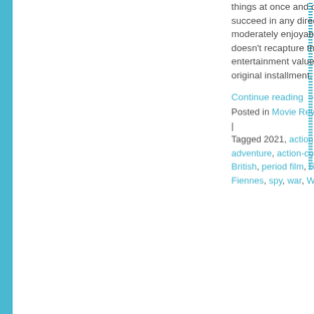things at once and doesn't fully succeed in any direction. It's moderately enjoyable, but doesn't recapture the entertainment value of the original installment.
Continue reading →
Posted in Movie Reviews | Tagged 2021, action, action-adventure, action-comedy, British, period film, Ralph Fiennes, spy, war, WWI